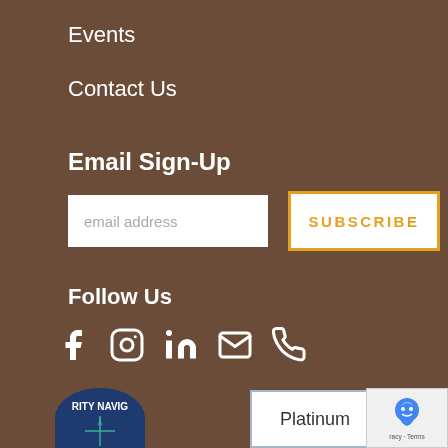Events
Contact Us
Email Sign-Up
email address
SUBSCRIBE
Follow Us
[Figure (illustration): Social media icons: Facebook, Instagram, LinkedIn, Email, Phone]
[Figure (logo): Circular navy logo with text RITY NAVIG and a compass/cross symbol]
[Figure (other): Platinum badge/box with light blue border]
[Figure (other): reCAPTCHA widget showing robot icon and privacy-terms text]